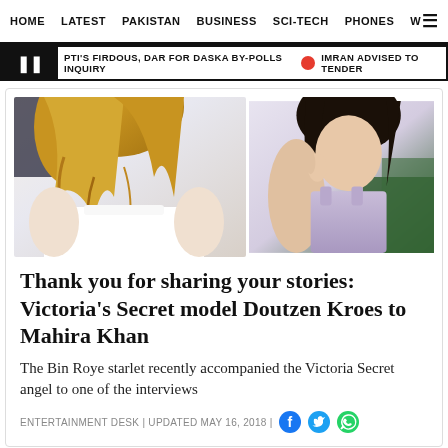HOME  LATEST  PAKISTAN  BUSINESS  SCI-TECH  PHONES  W
PTI'S FIRDOUS, DAR FOR DASKA BY-POLLS INQUIRY  •  IMRAN ADVISED TO TENDER
[Figure (photo): Two photos side by side: left shows a blonde woman in a white top, right shows a woman in a lavender outfit]
Thank you for sharing your stories: Victoria's Secret model Doutzen Kroes to Mahira Khan
The Bin Roye starlet recently accompanied the Victoria Secret angel to one of the interviews
ENTERTAINMENT DESK | UPDATED MAY 16, 2018 |